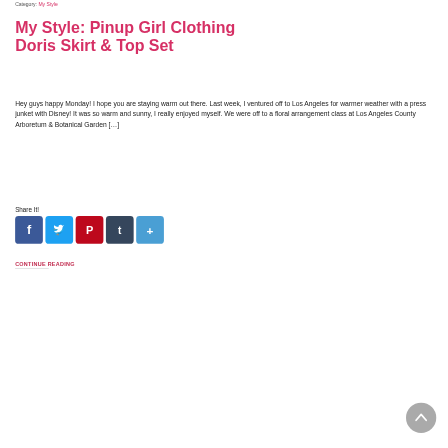Category: My Style
My Style: Pinup Girl Clothing Doris Skirt & Top Set
Hey guys happy Monday! I hope you are staying warm out there. Last week, I ventured off to Los Angeles for warmer weather with a press junket with Disney! It was so warm and sunny, I really enjoyed myself. We were off to a floral arrangement class at Los Angeles County Arboretum & Botanical Garden […]
Share It!
[Figure (other): Social share buttons: Facebook, Twitter, Pinterest, Tumblr, Share]
CONTINUE READING